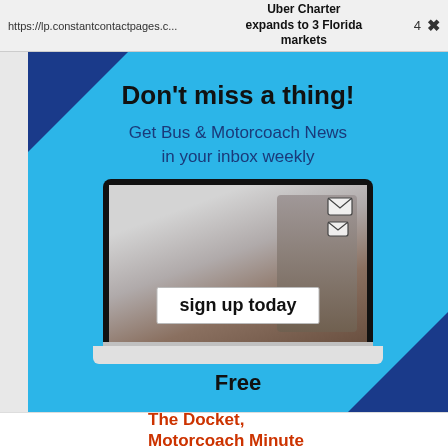https://lp.constantcontactpages.c... | Uber Charter expands to 3 Florida markets | 4 | X
[Figure (infographic): Newsletter signup advertisement on a light blue background with dark blue corner triangles. Shows a laptop with a person holding a phone and email icons on screen, with a 'sign up today' button overlay.]
Don't miss a thing!
Get Bus & Motorcoach News in your inbox weekly
Free
The Docket, Motorcoach Minute